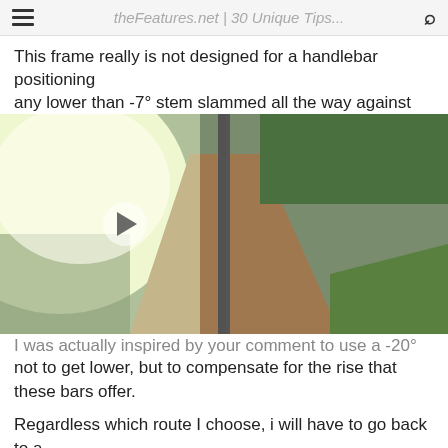theFeatures.net | 30 Unique Tips...
This frame really is not designed for a handlebar positioning any lower than -7° stem slammed all the way against the
[Figure (photo): Aerial or elevated view of a river with a road/bridge running alongside it, surrounded by trees and greenery. A video play button is visible, indicating this is an embedded video thumbnail.]
I was actually inspired by your comment to use a -20° stem, not to get lower, but to compensate for the rise that these bars offer.
Regardless which route I choose, i will have to go back to a